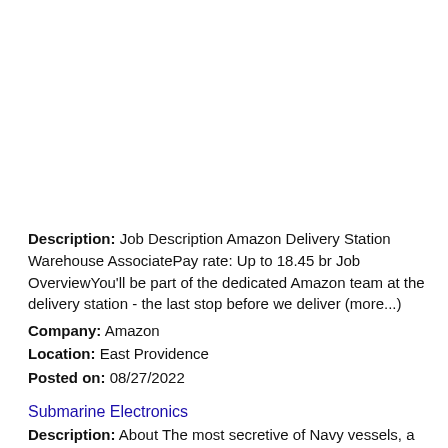Description: Job Description Amazon Delivery Station Warehouse AssociatePay rate: Up to 18.45 br Job OverviewYou'll be part of the dedicated Amazon team at the delivery station - the last stop before we deliver (more...)
Company: Amazon
Location: East Providence
Posted on: 08/27/2022
Submarine Electronics
Description: About The most secretive of Navy vessels, a submarine requires a select community of specially trained professionals to operate its classified,